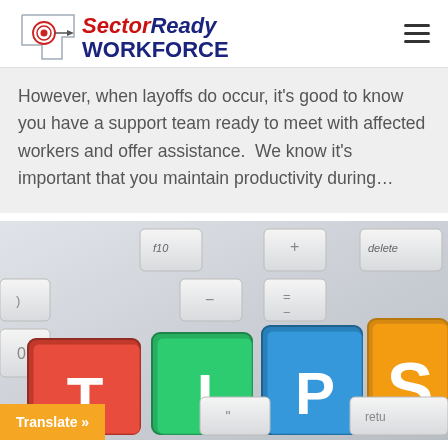SectorReady WORKFORCE
However, when layoffs do occur, it's good to know you have a support team ready to meet with affected workers and offer assistance.  We know it's important that you maintain productivity during…
[Figure (photo): A keyboard with colorful TIPS keys — T (red), I (green), P (blue), S (orange) — on a white keyboard, with f10, delete, and other keys visible. An orange 'Translate »' badge appears in the bottom-left corner.]